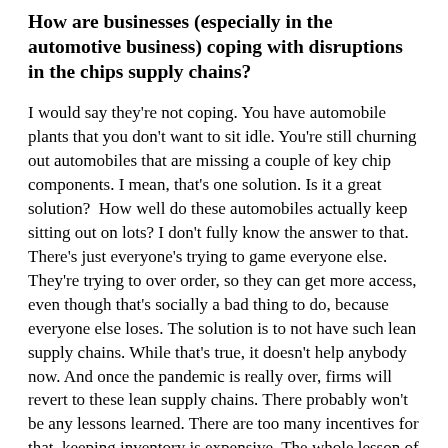How are businesses (especially in the automotive business) coping with disruptions in the chips supply chains?
I would say they're not coping. You have automobile plants that you don't want to sit idle. You're still churning out automobiles that are missing a couple of key chip components. I mean, that's one solution. Is it a great solution?  How well do these automobiles actually keep sitting out on lots? I don't fully know the answer to that. There's just everyone's trying to game everyone else. They're trying to over order, so they can get more access, even though that's socially a bad thing to do, because everyone else loses. The solution is to not have such lean supply chains. While that's true, it doesn't help anybody now. And once the pandemic is really over, firms will revert to these lean supply chains. There probably won't be any lessons learned. There are too many incentives for that, keeping inventory is expensive. The whole lesson of the Japanese lean manufacturing model was to have very